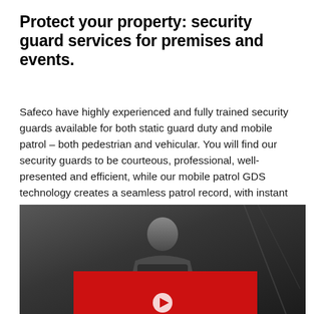Protect your property: security guard services for premises and events.
Safeco have highly experienced and fully trained security guards available for both static guard duty and mobile patrol – both pedestrian and vehicular. You will find our security guards to be courteous, professional, well-presented and efficient, while our mobile patrol GDS technology creates a seamless patrol record, with instant reporting available. When you need personnel on the ground, we're the team to see.
[Figure (photo): A security guard or presenter standing at what appears to be a podium or lectern, with a large red banner/overlay in the lower portion of the image. The scene is dark/industrial. A partial play button icon is visible at the bottom center, suggesting this is a video thumbnail.]